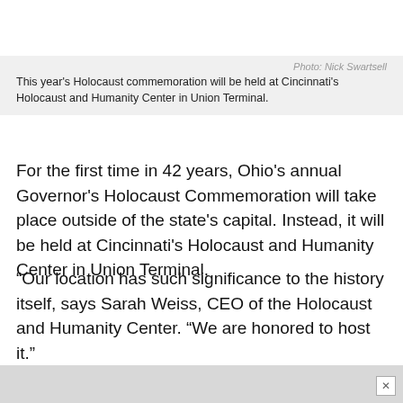Photo: Nick Swartsell
This year's Holocaust commemoration will be held at Cincinnati's Holocaust and Humanity Center in Union Terminal.
For the first time in 42 years, Ohio's annual Governor's Holocaust Commemoration will take place outside of the state's capital. Instead, it will be held at Cincinnati's Holocaust and Humanity Center in Union Terminal.
“Our location has such significance to the history itself, says Sarah Weiss, CEO of the Holocaust and Humanity Center. “We are honored to host it.”
During the May 9 live-streamed event, Ohio Gov. Mike